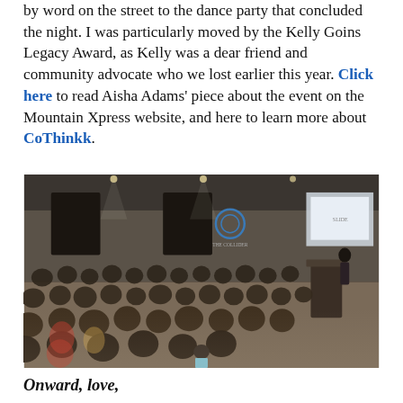by word on the street to the dance party that concluded the night. I was particularly moved by the Kelly Goins Legacy Award, as Kelly was a dear friend and community advocate who we lost earlier this year. Click here to read Aisha Adams' piece about the event on the Mountain Xpress website, and here to learn more about CoThinkk.
[Figure (photo): Indoor event photo showing a large crowd of people seated in rows in a conference room, facing a speaker standing at a podium on the right. A projected screen is visible in the background. The Collider logo is visible on the wall.]
Onward, love,